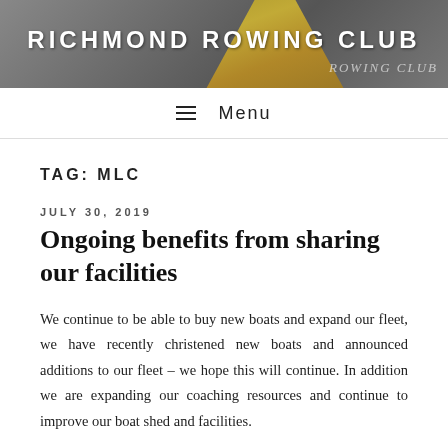[Figure (illustration): Richmond Rowing Club banner header with dark grey background, gold/yellow chevron/oar graphic in center, white bold uppercase text reading RICHMOND ROWING CLUB, and italic ROWING CLUB text watermark on the right]
☰  Menu
TAG: MLC
JULY 30, 2019
Ongoing benefits from sharing our facilities
We continue to be able to buy new boats and expand our fleet, we have recently christened new boats and announced additions to our fleet – we hope this will continue. In addition we are expanding our coaching resources and continue to improve our boat shed and facilities.